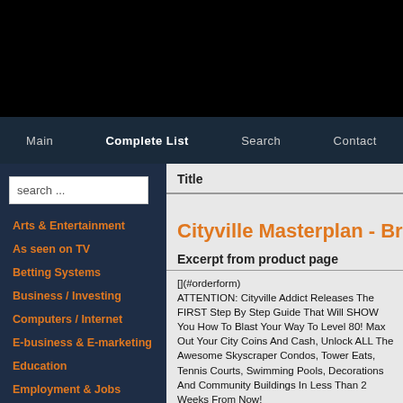Main | Complete List | Search | Contact
Arts & Entertainment
As seen on TV
Betting Systems
Business / Investing
Computers / Internet
E-business & E-marketing
Education
Employment & Jobs
Fiction
Games
Green Products
Cityville Masterplan - Br
Excerpt from product page
[](#orderform) ATTENTION: Cityville Addict Releases The FIRST Step By Step Guide That Will SHOW You How To Blast Your Way To Level 80! Max Out Your City Coins And Cash, Unlock ALL The Awesome Skyscraper Condos, Tower Eats, Tennis Courts, Swimming Pools, Decorations And Community Buildings In Less Than 2 Weeks From Now!